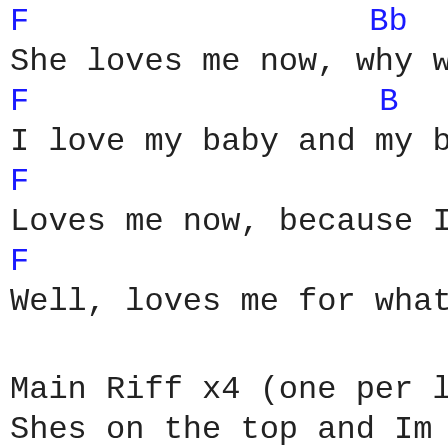F                           Bb
She loves me now, why wo
F                           B
I love my baby and my ba
F
Loves me now, because Im
F
Well, loves me for what
Main Riff x4 (one per li
Shes on the top and Im o
Ill take her anywhere th